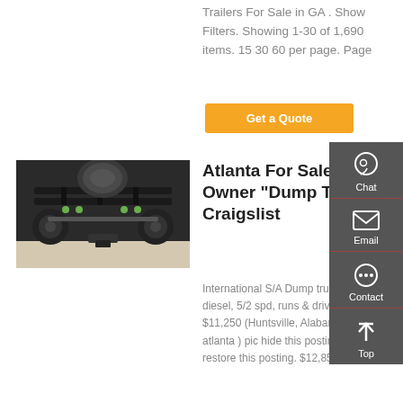Trailers For Sale in GA . Show Filters. Showing 1-30 of 1,690 items. 15 30 60 per page. Page
Get a Quote
[Figure (photo): Undercarriage view of a dump truck showing axles, suspension, and wheels from below]
Atlanta For Sale By Owner "Dump Truck" - Craigslist
International S/A Dump truck, 9.0 v8 diesel, 5/2 spd, runs & drives gd. $11,250 (Huntsville, Alabama city of atlanta ) pic hide this posting restore restore this posting. $12,850.